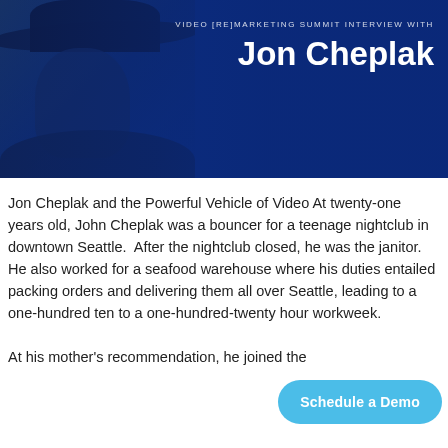[Figure (photo): Banner image with a dark blue background showing a man wearing a wide-brim hat, partially visible on the left side. Text overlay reads 'VIDEO [RE]MARKETING SUMMIT INTERVIEW WITH' and 'Jon Cheplak' in bold white text.]
Jon Cheplak and the Powerful Vehicle of Video At twenty-one years old, John Cheplak was a bouncer for a teenage nightclub in downtown Seattle.  After the nightclub closed, he was the janitor. He also worked for a seafood warehouse where his duties entailed packing orders and delivering them all over Seattle, leading to a one-hundred ten to a one-hundred-twenty hour workweek.
At his mother's recommendation, he joined the
Schedule a Demo